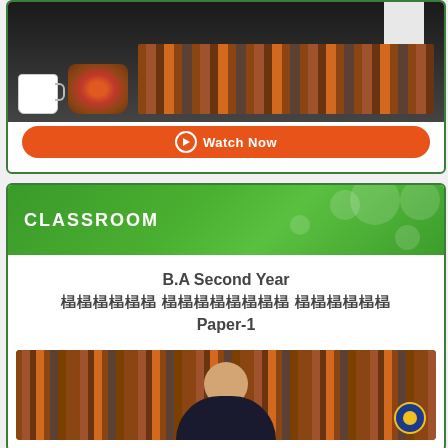[Figure (photo): Video thumbnail showing a desk with a white mug, flower basket, books in background, person in white shirt]
Watch Now
CLASSROOM
B.A Second Year
اردو لازمی مضمون
Paper-1
[Figure (photo): Classroom video thumbnail showing a man in front of bookshelves with a channel logo badge]